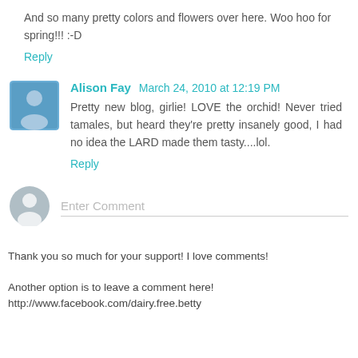And so many pretty colors and flowers over here. Woo hoo for spring!!! :-D
Reply
Alison Fay  March 24, 2010 at 12:19 PM
Pretty new blog, girlie! LOVE the orchid! Never tried tamales, but heard they're pretty insanely good, I had no idea the LARD made them tasty....lol.
Reply
Enter Comment
Thank you so much for your support! I love comments!
Another option is to leave a comment here! http://www.facebook.com/dairy.free.betty